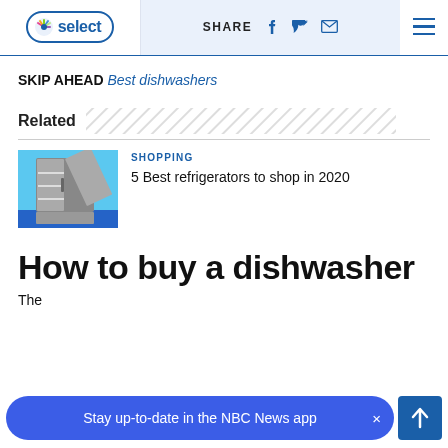NBC Select | SHARE [facebook] [twitter] [email] [menu]
SKIP AHEAD Best dishwashers
Related
[Figure (photo): Photo of a stainless steel French door refrigerator with doors open on a blue background]
SHOPPING
5 Best refrigerators to shop in 2020
How to buy a dishwasher
The
Stay up-to-date in the NBC News app